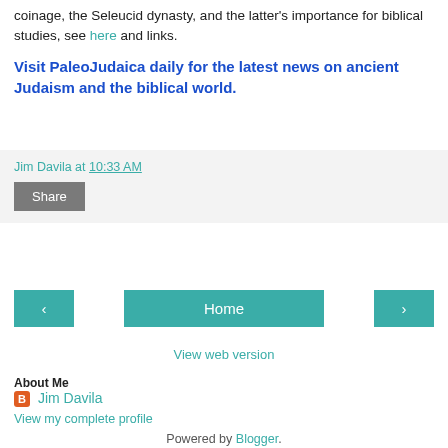coinage, the Seleucid dynasty, and the latter's importance for biblical studies, see here and links.
Visit PaleoJudaica daily for the latest news on ancient Judaism and the biblical world.
Jim Davila at 10:33 AM
Share
Home
View web version
About Me
Jim Davila
View my complete profile
Powered by Blogger.